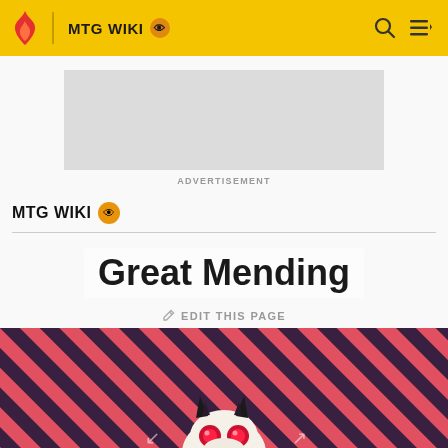MTG WIKI
[Figure (screenshot): Advertisement placeholder (grey rectangle)]
ADVERTISEMENT
MTG WIKI
Great Mending
EDIT THIS PAGE
[Figure (illustration): Diagonal pink and dark purple stripes background with a cartoon monster character (black horns, red glowing eyes, white fluffy body) at the bottom center]